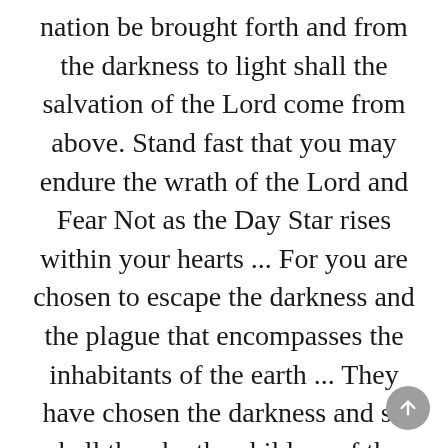nation be brought forth and from the darkness to light shall the salvation of the Lord come from above. Stand fast that you may endure the wrath of the Lord and Fear Not as the Day Star rises within your hearts ... For you are chosen to escape the darkness and the plague that encompasses the inhabitants of the earth ... They have chosen the darkness and so shall they be the children of the darkness... Stand Fast! The day approaches...